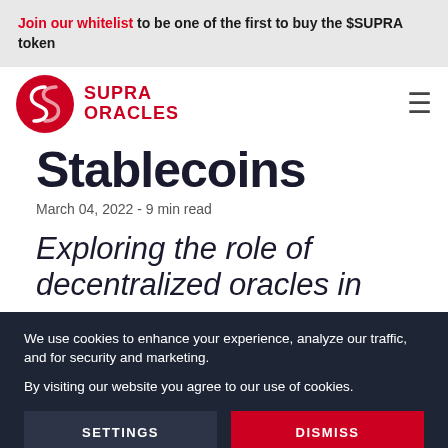Join our whitelist to be one of the first to buy the $SUPRA token
[Figure (logo): Supra Oracles logo — red circular icon with stylized S, beside red text reading SUPRA ORACLES]
Stablecoins
March 04, 2022 - 9 min read
Exploring the role of decentralized oracles in
We use cookies to enhance your experience, analyze our traffic, and for security and marketing.

By visiting our website you agree to our use of cookies.